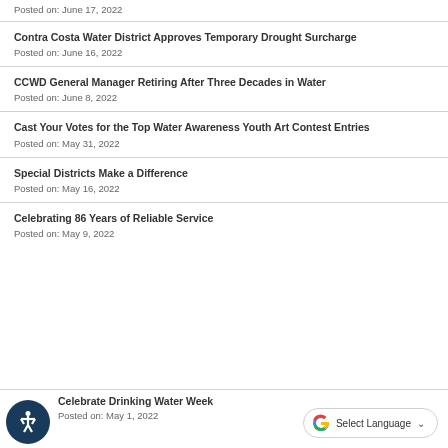Posted on: June 17, 2022
Contra Costa Water District Approves Temporary Drought Surcharge
Posted on: June 16, 2022
CCWD General Manager Retiring After Three Decades in Water
Posted on: June 8, 2022
Cast Your Votes for the Top Water Awareness Youth Art Contest Entries
Posted on: May 31, 2022
Special Districts Make a Difference
Posted on: May 16, 2022
Celebrating 86 Years of Reliable Service
Posted on: May 9, 2022
Celebrate Drinking Water Week
Posted on: May 1, 2022